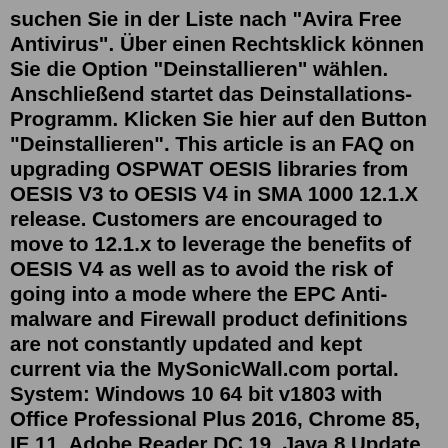suchen Sie in der Liste nach "Avira Free Antivirus". Über einen Rechtsklick können Sie die Option "Deinstallieren" wählen. Anschließend startet das Deinstallations-Programm. Klicken Sie hier auf den Button "Deinstallieren". This article is an FAQ on upgrading OSPWAT OESIS libraries from OESIS V3 to OESIS V4 in SMA 1000 12.1.X release. Customers are encouraged to move to 12.1.x to leverage the benefits of OESIS V4 as well as to avoid the risk of going into a mode where the EPC Anti-malware and Firewall product definitions are not constantly updated and kept current via the MySonicWall.com portal. System: Windows 10 64 bit v1803 with Office Professional Plus 2016, Chrome 85, IE 11, Adobe Reader DC 19, Java 8 Update 211 Feb 26, 2015 · Go to the Start menu and right-click the cmd.exe and then select Run as Administrator. Enter the following in the command prompt: winrm quickconfig. winrm set winrm/config/client @ {TrustedHosts="*"} 4. On the target server, open a command prompt as an Administrator and enter the following: winrm